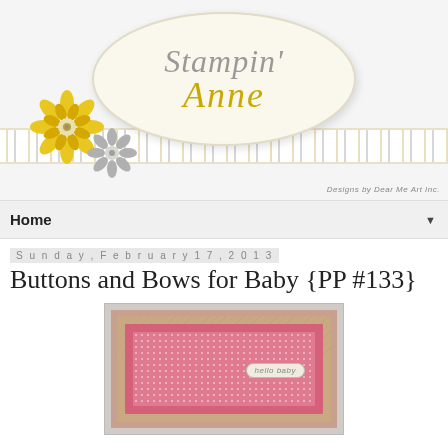[Figure (logo): Stampin' Anne blog logo — oval cream background with decorative lace border strip, yellow mandala flower, gray flower, script text 'Stampin'' in gray and 'Anne' in gold/yellow]
Home
Sunday, February 17, 2013
Buttons and Bows for Baby {PP #133}
[Figure (photo): Handmade baby greeting card with pink/tan layers, chevron pattern background, polka dot pink paper, and 'hello baby' label tag]